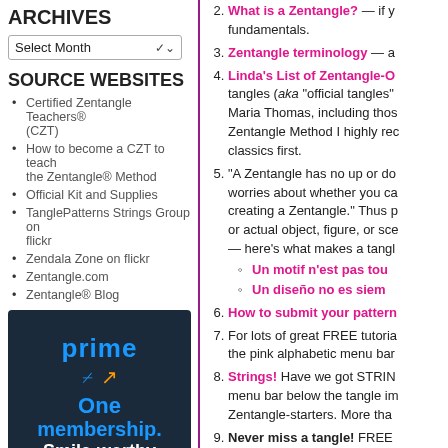ARCHIVES
Select Month
SOURCE WEBSITES
Certified Zentangle Teachers® (CZT)
How to become a CZT to teach the Zentangle® Method
Official Kit and Supplies
TanglePatterns Strings Group on flickr
Zendala Zone on flickr
Zentangle.com
Zentangle® Blog
[Figure (photo): Amazon Prime advertisement showing 'prime', smile arrow logo, 'One membership. Smile-worthy' text on dark navy background]
2. What is a Zentangle? — if you need the fundamentals.
3. Zentangle terminology — a...
4. Linda's List of Zentangle-O... tangles (aka "official tangles"... Maria Thomas, including thos... Zentangle Method I highly rec... classics first.
5. "A Zentangle has no up or do... worries about whether you ca... creating a Zentangle." Thus p... or actual object, figure, or sce... — here's what makes a tangl...
Un motif n'est pas tou...
Un diseño no es siem...
6. How to submit your pattern...
7. For lots of great FREE tutoria... the pink alphabetic menu bar...
8. Strings! Have we got STRIN... menu bar below the tangle im... Zentangle-starters. More tha...
9. Never miss a tangle! FREE... on the top menu bar of any p... free to your inbox.
TAGS & How to locate tangles